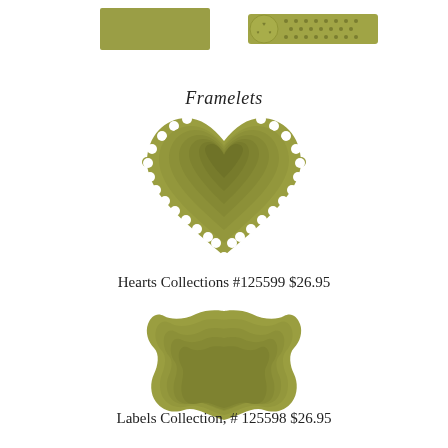[Figure (illustration): Two olive/gold colored framelet die-cut shapes at top: a plain rectangle on the left and a decorative dotted/textured band with circular element on the right]
Framelets
[Figure (illustration): Stacked olive/gold colored heart-shaped framelets (nested concentric hearts getting smaller), with scalloped outer edge]
Hearts Collections #125599 $26.95
[Figure (illustration): Stacked olive/gold colored label/bracket shaped framelets (nested concentric ornate label shapes getting smaller)]
Labels Collection, # 125598 $26.95